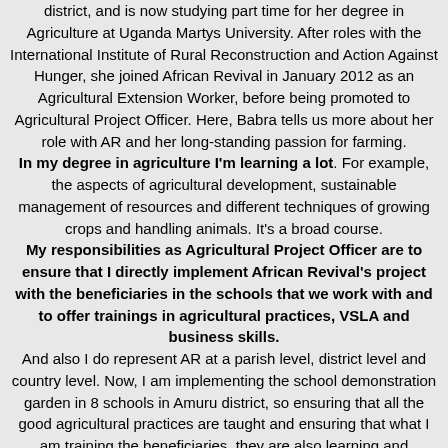district, and is now studying part time for her degree in Agriculture at Uganda Martys University. After roles with the International Institute of Rural Reconstruction and Action Against Hunger, she joined African Revival in January 2012 as an Agricultural Extension Worker, before being promoted to Agricultural Project Officer. Here, Babra tells us more about her role with AR and her long-standing passion for farming.
In my degree in agriculture I'm learning a lot. For example, the aspects of agricultural development, sustainable management of resources and different techniques of growing crops and handling animals. It's a broad course.
My responsibilities as Agricultural Project Officer are to ensure that I directly implement African Revival's project with the beneficiaries in the schools that we work with and to offer trainings in agricultural practices, VSLA and business skills.
And also I do represent AR at a parish level, district level and country level. Now, I am implementing the school demonstration garden in 8 schools in Amuru district, so ensuring that all the good agricultural practices are taught and ensuring that what I am training the beneficiaries, they are also learning and replicating at the household level. And with the pupil's clubs, ensuring that they are taught business models so that they can be well acquainted with the life after school, so that in case they don't continue with